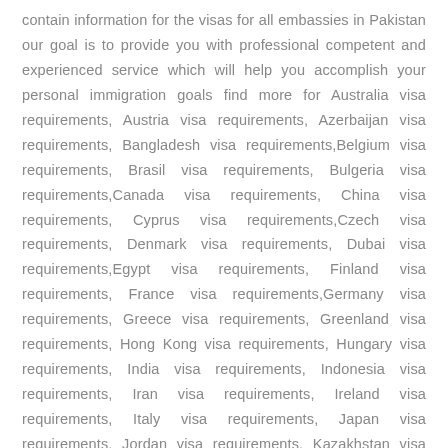contain information for the visas for all embassies in Pakistan our goal is to provide you with professional competent and experienced service which will help you accomplish your personal immigration goals find more for Australia visa requirements, Austria visa requirements, Azerbaijan visa requirements, Bangladesh visa requirements,Belgium visa requirements, Brasil visa requirements, Bulgeria visa requirements,Canada visa requirements, China visa requirements, Cyprus visa requirements,Czech visa requirements, Denmark visa requirements, Dubai visa requirements,Egypt visa requirements, Finland visa requirements, France visa requirements,Germany visa requirements, Greece visa requirements, Greenland visa requirements, Hong Kong visa requirements, Hungary visa requirements, India visa requirements, Indonesia visa requirements, Iran visa requirements, Ireland visa requirements, Italy visa requirements, Japan visa requirements, Jordan visa requirements, Kazakhstan visa requirements, Kenya visa requirements, Korea visa requirements, Lebanon visa requirements, Libya visa requirements, Malaysia visa